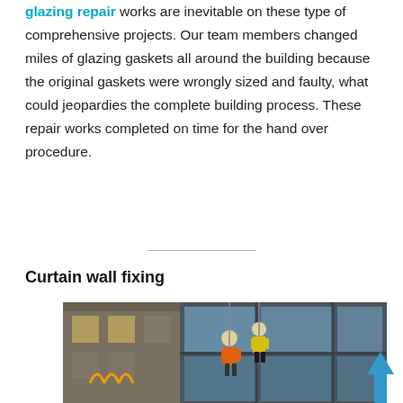glazing repair works are inevitable on these type of comprehensive projects. Our team members changed miles of glazing gaskets all around the building because the original gaskets were wrongly sized and faulty, what could jeopardies the complete building process. These repair works completed on time for the hand over procedure.
Curtain wall fixing
[Figure (photo): Workers abseiling on the exterior of a building with curtain wall glazing. One worker in orange and yellow high-visibility gear is visible working on the facade. The building shows a modern glass curtain wall panel system alongside an older stone facade.]